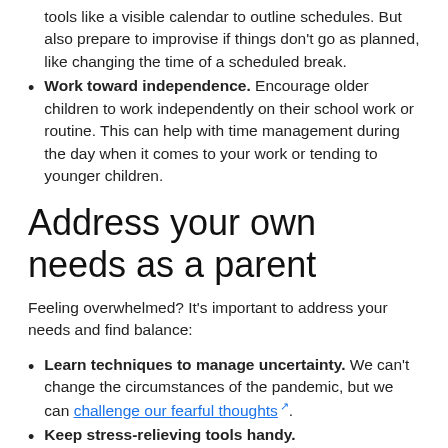tools like a visible calendar to outline schedules. But also prepare to improvise if things don't go as planned, like changing the time of a scheduled break.
Work toward independence. Encourage older children to work independently on their school work or routine. This can help with time management during the day when it comes to your work or tending to younger children.
Address your own needs as a parent
Feeling overwhelmed? It's important to address your needs and find balance:
Learn techniques to manage uncertainty. We can't change the circumstances of the pandemic, but we can challenge our fearful thoughts.
Keep stress-relieving tools handy.